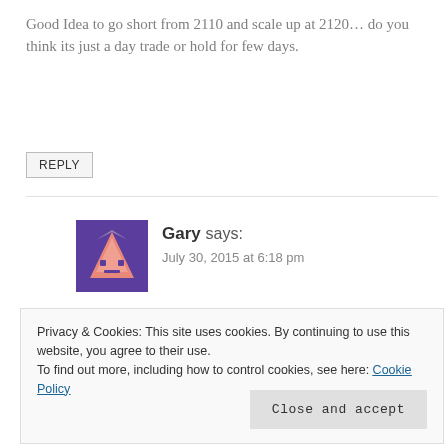Good Idea to go short from 2110 and scale up at 2120… do you think its just a day trade or hold for few days.
REPLY
Gary says:
July 30, 2015 at 6:18 pm
Is Valley still posting here? I thought he was long gone and hanging out on his yacht and the island he bought 🙂
Privacy & Cookies: This site uses cookies. By continuing to use this website, you agree to their use.
To find out more, including how to control cookies, see here: Cookie Policy
Close and accept